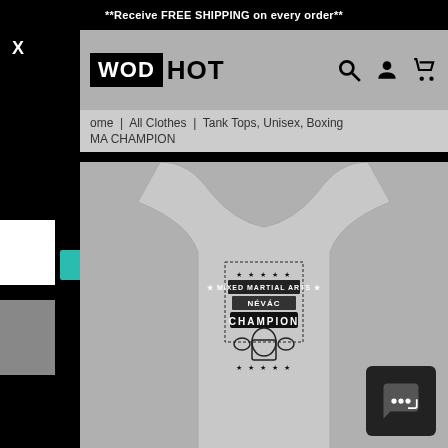**Receive FREE SHIPPING on every order**
[Figure (logo): WODHOT logo with WOD in black box and HOT in plain text]
Home | All Clothes | Tank Tops, Unisex, Boxing MMA CHAMPION
[Figure (photo): Gray tank top with Mixed Martial Arts Champion graphic design showing a boxer and text]